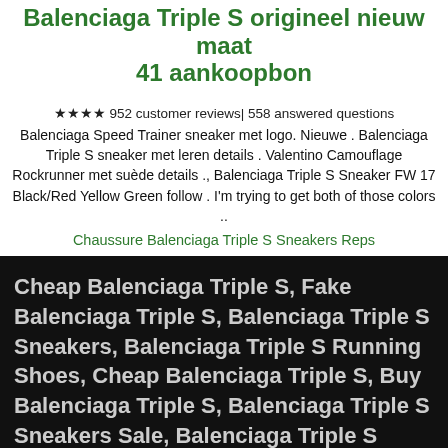Balenciaga Triple S origineel nieuw maat 41 aankoopbon
★★★★ 952 customer reviews| 558 answered questions
Balenciaga Speed Trainer sneaker met logo. Nieuwe . Balenciaga Triple S sneaker met leren details . Valentino Camouflage Rockrunner met suède details ., Balenciaga Triple S Sneaker FW 17 Black/Red Yellow Green follow . I'm trying to get both of those colors ..
Chaussure Balenciaga Triple S Sneakers Reps
Cheap Balenciaga Triple S, Fake Balenciaga Triple S, Balenciaga Triple S Sneakers, Balenciaga Triple S Running Shoes, Cheap Balenciaga Triple S, Buy Balenciaga Triple S, Balenciaga Triple S Sneakers Sale, Balenciaga Triple S Outlet, Triple S Running Shoes Online.